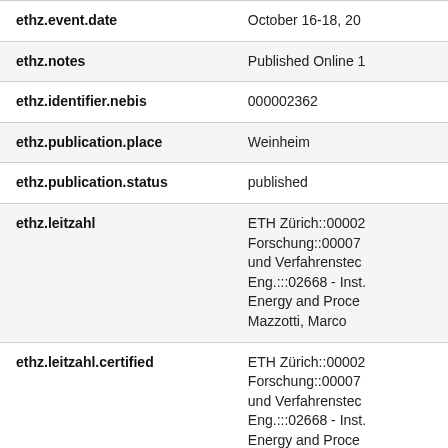| Field | Value |
| --- | --- |
| ethz.event.date | October 16-18, 20… |
| ethz.notes | Published Online 1… |
| ethz.identifier.nebis | 000002362 |
| ethz.publication.place | Weinheim |
| ethz.publication.status | published |
| ethz.leitzahl | ETH Zürich::00002
Forschung::00007
und Verfahrenstec
Eng.:::02668 - Inst.
Energy and Proce…
Mazzotti, Marco |
| ethz.leitzahl.certified | ETH Zürich::00002
Forschung::00007
und Verfahrenstec
Eng.:::02668 - Inst.
Energy and Proce… |